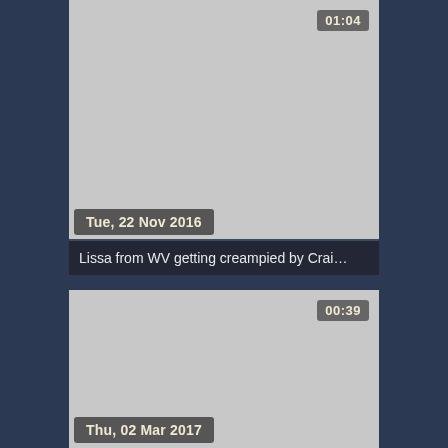[Figure (screenshot): Video thumbnail card 1 with gray placeholder image, duration badge '01:04' in top right, date badge 'Tue, 22 Nov 2016' in bottom left, and title bar 'Lissa from WV getting creampied by Crai...' at bottom]
[Figure (screenshot): Video thumbnail card 2 with gray placeholder image, duration badge '00:39' in top right, date badge 'Thu, 02 Mar 2017' in bottom left]